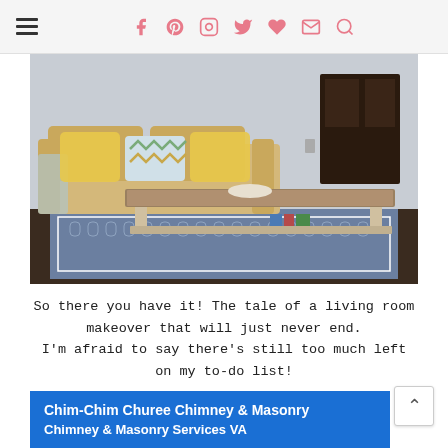Navigation header with hamburger menu and social icons (f, Pinterest, Instagram, Twitter, heart, email, search)
[Figure (photo): Living room with beige sofa, yellow throw pillows, a chevron pillow, rustic whitewashed coffee table with lower shelf holding books, dark hardwood floor, blue geometric patterned rug, gray walls, dark door in background.]
So there you have it! The tale of a living room makeover that will just never end.
I'm afraid to say there's still too much left on my to-do list!
Chim-Chim Churee Chimney & Masonry
Chimney & Masonry Services VA